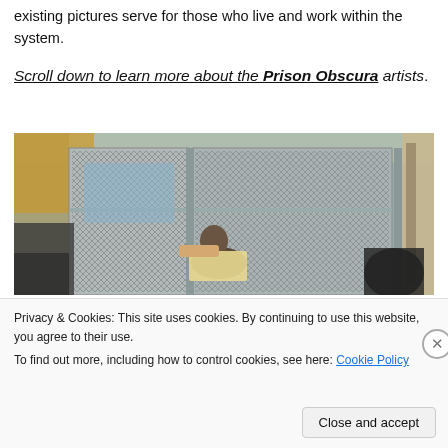existing pictures serve for those who live and work within the system.
Scroll down to learn more about the Prison Obscura artists.
[Figure (photo): A person sitting at a computer workstation enclosed in metal mesh/cage structure inside a prison facility. Multiple cage-style computer kiosks visible. Prison cell block visible in background on right side.]
Privacy & Cookies: This site uses cookies. By continuing to use this website, you agree to their use.
To find out more, including how to control cookies, see here: Cookie Policy